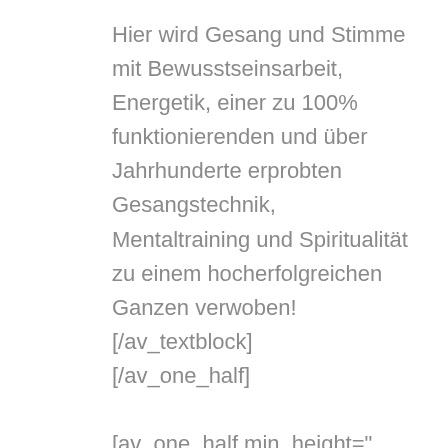Hier wird Gesang und Stimme mit Bewusstseinsarbeit, Energetik, einer zu 100% funktionierenden und über Jahrhunderte erprobten Gesangstechnik, Mentaltraining und Spiritualität zu einem hocherfolgreichen Ganzen verwoben!
[/av_textblock]
[/av_one_half]

[av_one_half min_height=" vertical_alignment=" space=" row_boxshadow="